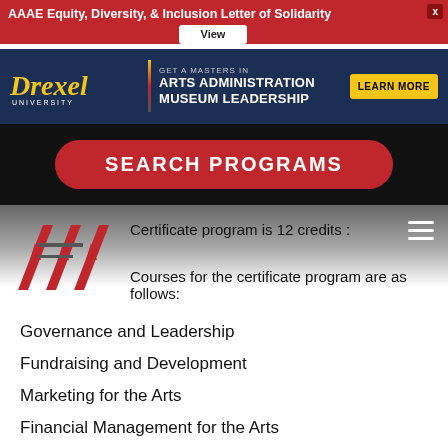AAAE Equity, Diversity, & Inclusion Letter of Solidarity
[Figure (screenshot): Drexel University advertisement banner for Masters in Arts Administration and Museum Leadership with Learn More button]
[Figure (screenshot): Red SEARCH PROGRAMS button on black background]
Certificate program is 12 credits
[Figure (logo): AAAE red triple-A logo mark]
Courses for the certificate program are as follows:
Governance and Leadership
Fundraising and Development
Marketing for the Arts
Financial Management for the Arts